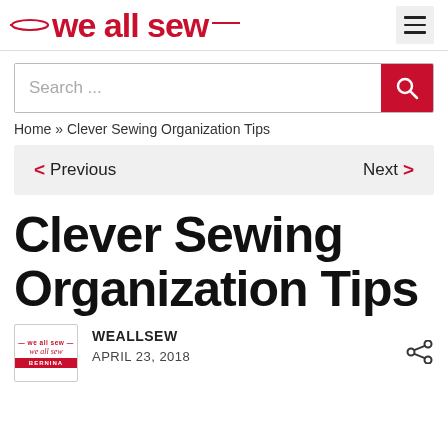we all sew
Search ...
Home » Clever Sewing Organization Tips
< Previous   Next >
Clever Sewing Organization Tips
WEALLSEW
APRIL 23, 2018